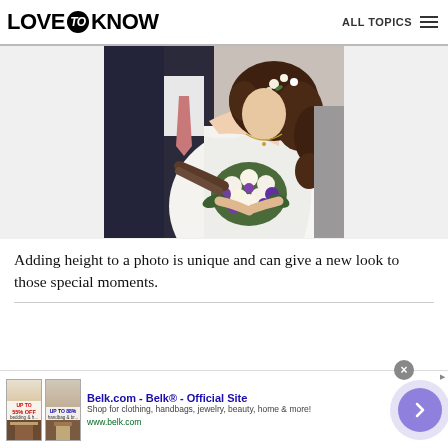LOVE to KNOW   ALL TOPICS
[Figure (photo): Wedding photo showing a bride in a white strapless dress holding a bouquet of white and purple flowers, with a groom in a dark suit leaning over her, cropped from the waist up.]
Adding height to a photo is unique and can give a new look to those special moments.
[Figure (other): Advertisement banner for Belk.com - Belk® - Official Site. Shows product thumbnails, text 'Shop for clothing, handbags, jewelry, beauty, home & more!' and URL www.belk.com, with a purple arrow button on the right.]